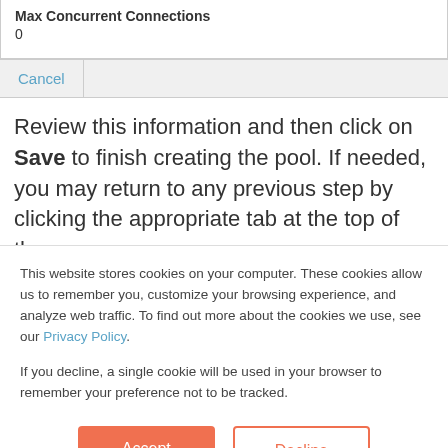Max Concurrent Connections
0
Cancel
Review this information and then click on Save to finish creating the pool. If needed, you may return to any previous step by clicking the appropriate tab at the top of the
This website stores cookies on your computer. These cookies allow us to remember you, customize your browsing experience, and analyze web traffic. To find out more about the cookies we use, see our Privacy Policy.
If you decline, a single cookie will be used in your browser to remember your preference not to be tracked.
Accept
Decline